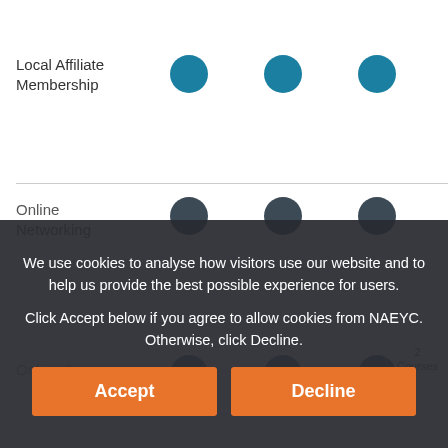Local Affiliate Membership
[Figure (other): Row of teal filled circles indicating included benefits for Local Affiliate Membership]
Online Networking
[Figure (other): Row of dark filled circles indicating included benefits for Online Networking]
Online Courses
2 Courses
We use cookies to analyse how visitors use our website and to help us provide the best possible experience for users.

Click Accept below if you agree to allow cookies from NAEYC. Otherwise, click Decline.
Accept
Decline